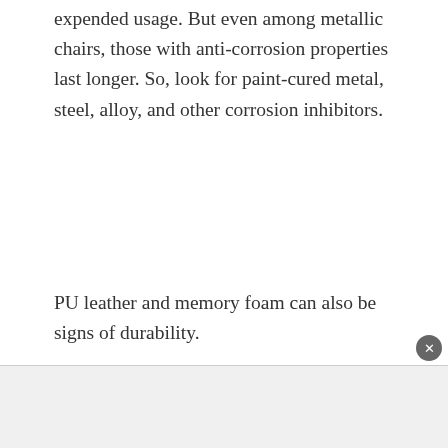expended usage. But even among metallic chairs, those with anti-corrosion properties last longer. So, look for paint-cured metal, steel, alloy, and other corrosion inhibitors.
PU leather and memory foam can also be signs of durability.
Weight Capacity
Looking over the material isn't enough for finding durable furniture. You may also want to check how many pounds it can